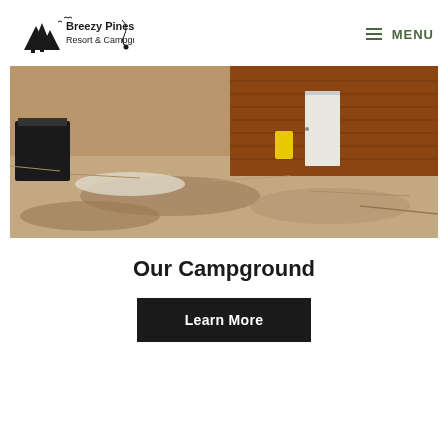Breezy Pines Resort & Campground | MENU
[Figure (photo): Outdoor view of a campground site with a rustic wooden cabin wall, dirt/dry grass ground, a black grill, and a yellow container near the cabin door]
Our Campground
Learn More